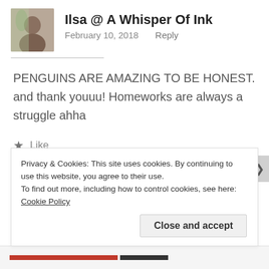Ilsa @ A Whisper Of Ink
February 10, 2018   Reply
PENGUINS ARE AMAZING TO BE HONEST. and thank youuu! Homeworks are always a struggle ahha
Like
Privacy & Cookies: This site uses cookies. By continuing to use this website, you agree to their use.
To find out more, including how to control cookies, see here: Cookie Policy
Close and accept